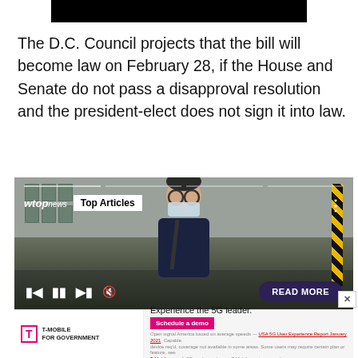[Figure (other): Black bar graphic at top center]
The D.C. Council projects that the bill will become law on February 28, if the House and Senate do not pass a disapproval resolution and the president-elect does not sign it into law.
[Figure (screenshot): WTOP News video player showing a person wearing glasses and a face mask, with 'Top Articles' badge overlay. Controls bar at bottom with skip back, play/pause, skip forward, mute buttons on left and a 'READ MORE' button on right. Video progress bar at top.]
[Figure (other): T-Mobile for Government advertisement banner at bottom: logo on left, 'Experience the 5G leader.' headline with 'Schedule a demo' pink button and fine print on right.]